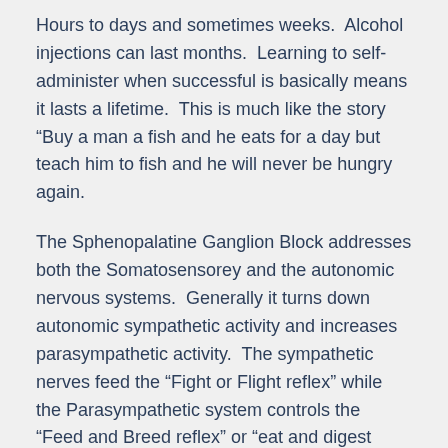Hours to days and sometimes weeks.  Alcohol injections can last months.  Learning to self-administer when successful is basically means it lasts a lifetime.  This is much like the story “Buy a man a fish and he eats for a day but teach him to fish and he will never be hungry again.
The Sphenopalatine Ganglion Block addresses both the Somatosensorey and the autonomic nervous systems.  Generally it turns down autonomic sympathetic activity and increases parasympathetic activity.  The sympathetic nerves feed the “Fight or Flight reflex” while the Parasympathetic system controls the “Feed and Breed reflex” or “eat and digest reflex”.  These parasympathetic feelings are similar to how we feel playing with babies, puppies and kittens or falling in love.